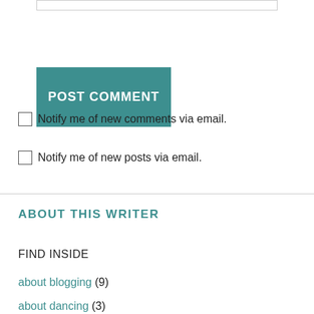[Figure (other): Input text box (top, partially visible)]
POST COMMENT
Notify me of new comments via email.
Notify me of new posts via email.
ABOUT THIS WRITER
FIND INSIDE
about blogging (9)
about dancing (3)